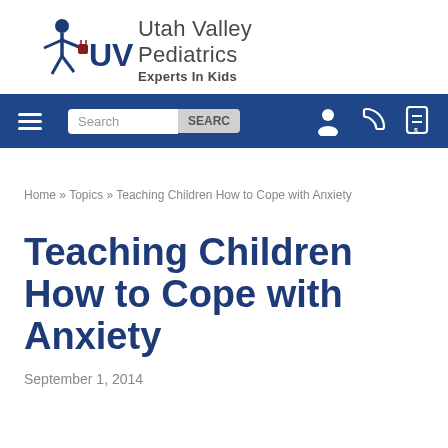[Figure (logo): Utah Valley Pediatrics UVP logo with stylized figure and text 'Utah Valley Pediatrics Experts In Kids']
[Figure (screenshot): Navigation bar with hamburger menu, search box with SEARCH button, and icons for user, phone, and document]
Home » Topics » Teaching Children How to Cope with Anxiety
Teaching Children How to Cope with Anxiety
September 1, 2014